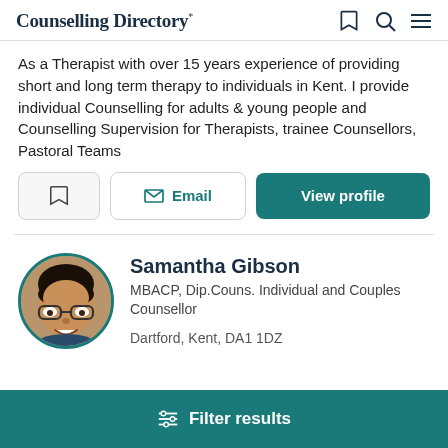Counselling Directory
As a Therapist with over 15 years experience of providing short and long term therapy to individuals in Kent. I provide individual Counselling for adults & young people and Counselling Supervision for Therapists, trainee Counsellors, Pastoral Teams
Email  |  View profile
Samantha Gibson
MBACP, Dip.Couns. Individual and Couples Counsellor
Dartford, Kent, DA1 1DZ
Filter results